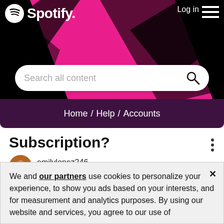[Figure (screenshot): Spotify website header with logo, Log in link, hamburger menu, pink and black decorative background, search bar, and breadcrumb navigation showing Home / Help / Accounts]
Subscription?
emilylopez246
Newbie
We and our partners use cookies to personalize your experience, to show you ads based on your interests, and for measurement and analytics purposes. By using our website and services, you agree to our use of